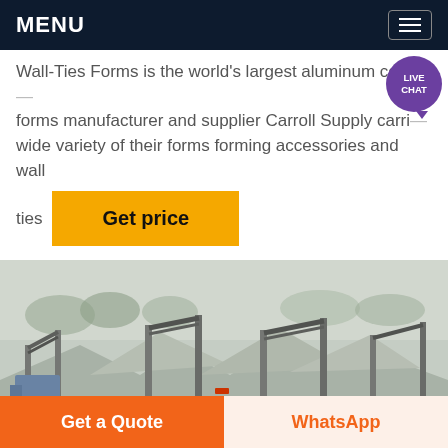MENU
Wall-Ties Forms is the world's largest aluminum concrete forms manufacturer and supplier Carroll Supply carries a wide variety of their forms forming accessories and wall ties
Get price
[Figure (photo): Industrial quarry/mining site with conveyor belts, heavy machinery, and stockpiles of aggregate material. Dusty, hazy outdoor environment.]
Get a Quote
WhatsApp